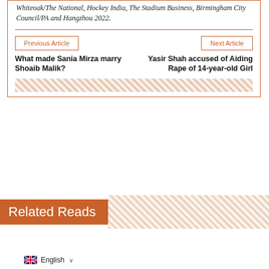Whiteoak/The National, Hockey India, The Stadium Business, Birmingham City Council/PA and Hangzhou 2022.
Previous Article
Next Article
What made Sania Mirza marry Shoaib Malik?
Yasir Shah accused of Aiding Rape of 14-year-old Girl
Related Reads
English